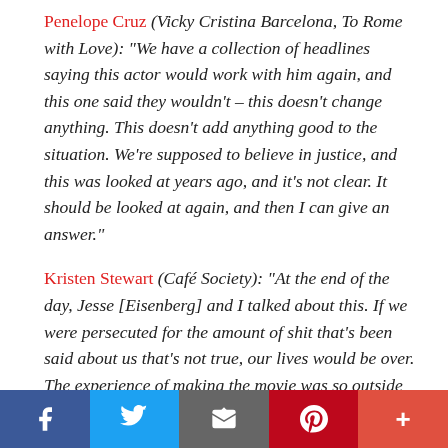Penelope Cruz (Vicky Cristina Barcelona, To Rome with Love): "We have a collection of headlines saying this actor would work with him again, and this one said they wouldn't – this doesn't change anything. This doesn't add anything good to the situation. We're supposed to believe in justice, and this was looked at years ago, and it's not clear. It should be looked at again, and then I can give an answer."
Kristen Stewart (Café Society): "At the end of the day, Jesse [Eisenberg] and I talked about this. If we were persecuted for the amount of shit that's been said about us that's not true, our lives would be over. The experience of making the movie was so outside of that, it was fruitful for the two of us to go on with it."
Social share bar: Facebook, Twitter, Email, Pinterest, More